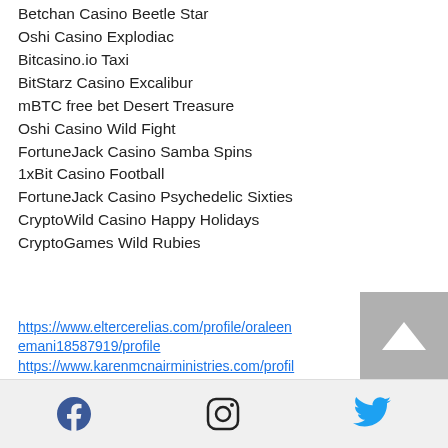Betchan Casino Beetle Star
Oshi Casino Explodiac
Bitcasino.io Taxi
BitStarz Casino Excalibur
mBTC free bet Desert Treasure
Oshi Casino Wild Fight
FortuneJack Casino Samba Spins
1xBit Casino Football
FortuneJack Casino Psychedelic Sixties
CryptoWild Casino Happy Holidays
CryptoGames Wild Rubies
https://www.eltercerelias.com/profile/oraleenemani18587919/profile
https://www.karenmcnairministries.com/profile/isaacbaird18733659/profile
https://www.momcheesecakes.com/profile/awildabathke17661270/profile
https://www.thrivefitnessrva.com/profile/lisset
Social icons: Facebook, Instagram, Twitter